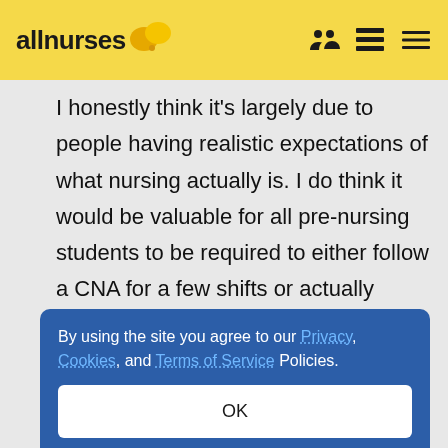allnurses
I honestly think it's largely due to people having realistic expectations of what nursing actually is. I do think it would be valuable for all pre-nursing students to be required to either follow a CNA for a few shifts or actually become one and work before being allowed to enter a nursing program. This
By using the site you agree to our Privacy, Cookies, and Terms of Service Policies.
OK
I have been an LPN/CNA for years so I knew